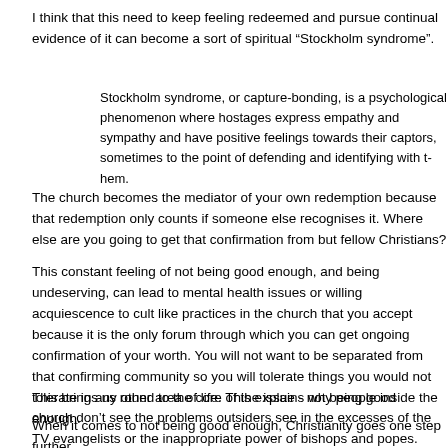I think that this need to keep feeling redeemed and pursue continual evidence of it can become a sort of spiritual “Stockholm syndrome”.
Stockholm syndrome, or capture-bonding, is a psychological phenomenon where hostages express empathy and sympathy and have positive feelings towards their captors, sometimes to the point of defending and identifying with them.
The church becomes the mediator of your own redemption because that redemption only counts if someone else recognises it. Where else are you going to get that confirmation from but fellow Christians?
This constant feeling of not being good enough, and being undeserving, can lead to mental health issues or willing acquiescence to cult like practices in the church that you accept because it is the only forum through which you can get ongoing confirmation of your worth. You will not want to be separated from that confirming community so you will tolerate things you would not tolerate in any other area of life. This explains why people inside the church don’t see the problems outsiders see in the excesses of the TV evangelists or the inappropriate power of bishops and popes.
This brings us round to the core of the issue - not being good enough.
When it comes to not being good enough, Christianity goes one step further...